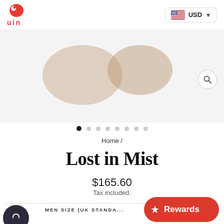[Figure (logo): UIN brand logo: red chameleon-like icon above red 'uin' text]
USD (currency selector with US flag dropdown)
[Figure (photo): Product image area showing partial shoe images (tan/brown tones) against light grey background, with carousel dots below]
Home /
Lost in Mist
$165.60
Tax included.
MEN SIZE (UK STANDA...
5.5 (selected)
6
6.5
7
7.5
8
8.5
[Figure (other): Rewards button (red pill shape) with star icon and 'Rewards' text]